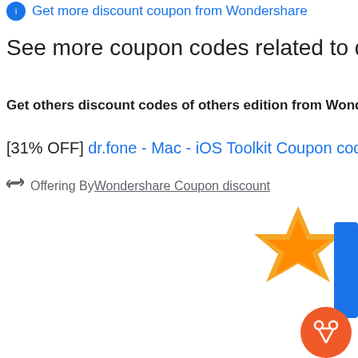Get more discount coupon from Wondershare
See more coupon codes related to dr.fone
Get others discount codes of others edition from Wondershare
[31% OFF] dr.fone - Mac - iOS Toolkit Coupon code
Offering By Wondershare Coupon discount
[Figure (illustration): Orange and yellow star/badge graphic with scissors icon button in the bottom right corner]